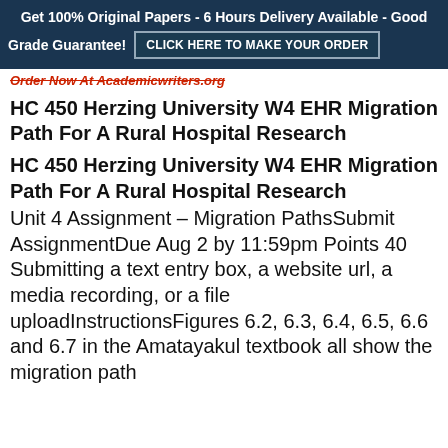Get 100% Original Papers - 6 Hours Delivery Available - Good Grade Guarantee! CLICK HERE TO MAKE YOUR ORDER
Order Now At Academicwriters.org
HC 450 Herzing University W4 EHR Migration Path For A Rural Hospital Research
HC 450 Herzing University W4 EHR Migration Path For A Rural Hospital Research
Unit 4 Assignment – Migration PathsSubmit AssignmentDue Aug 2 by 11:59pm Points 40 Submitting a text entry box, a website url, a media recording, or a file uploadInstructionsFigures 6.2, 6.3, 6.4, 6.5, 6.6 and 6.7 in the Amatayakul textbook all show the migration path